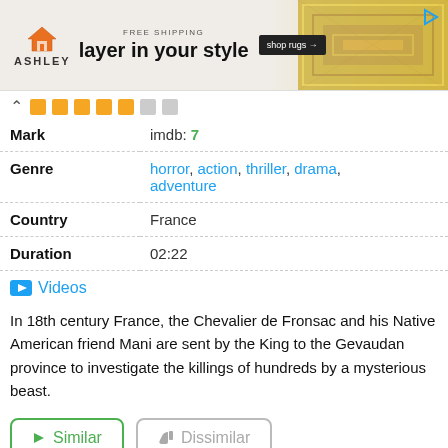[Figure (photo): Ashley Furniture advertisement banner: 'FREE SHIPPING / layer in your style / shop rugs →' with orange house icon and decorative rug background]
| Field | Value |
| --- | --- |
| Mark | imdb: 7 |
| Genre | horror, action, thriller, drama, adventure |
| Country | France |
| Duration | 02:22 |
📹 Videos
In 18th century France, the Chevalier de Fronsac and his Native American friend Mani are sent by the King to the Gevaudan province to investigate the killings of hundreds by a mysterious beast.
▶ Similar   👎 Dissimilar